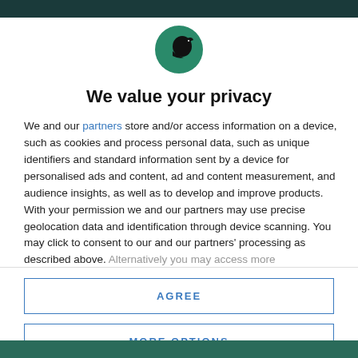[Figure (logo): Round green circle with a black silhouette of a bird (crow/rook) facing right]
We value your privacy
We and our partners store and/or access information on a device, such as cookies and process personal data, such as unique identifiers and standard information sent by a device for personalised ads and content, ad and content measurement, and audience insights, as well as to develop and improve products. With your permission we and our partners may use precise geolocation data and identification through device scanning. You may click to consent to our and our partners' processing as described above. Alternatively you may access more
AGREE
MORE OPTIONS